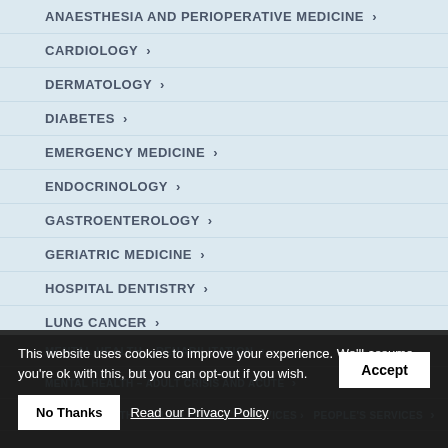ANAESTHESIA AND PERIOPERATIVE MEDICINE ›
CARDIOLOGY ›
DERMATOLOGY ›
DIABETES ›
EMERGENCY MEDICINE ›
ENDOCRINOLOGY ›
GASTROENTEROLOGY ›
GERIATRIC MEDICINE ›
HOSPITAL DENTISTRY ›
LUNG CANCER ›
MENTAL HEALTH – REHABILITATION ›
MENTAL HEALTH – ADULT CRISIS AND ACUTE ›
MENTAL HEALTH – YOUNG PEOPLE'S SERVICES ›
This website uses cookies to improve your experience. We'll assume you're ok with this, but you can opt-out if you wish.
Accept | No Thanks | Read our Privacy Policy